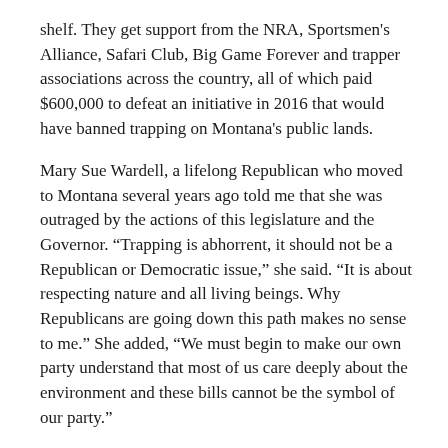shelf. They get support from the NRA, Sportsmen's Alliance, Safari Club, Big Game Forever and trapper associations across the country, all of which paid $600,000 to defeat an initiative in 2016 that would have banned trapping on Montana's public lands.
Mary Sue Wardell, a lifelong Republican who moved to Montana several years ago told me that she was outraged by the actions of this legislature and the Governor. “Trapping is abhorrent, it should not be a Republican or Democratic issue,” she said. “It is about respecting nature and all living beings. Why Republicans are going down this path makes no sense to me.” She added, “We must begin to make our own party understand that most of us care deeply about the environment and these bills cannot be the symbol of our party.”
Governor Gianforte’s welcome slogan is “Open for Business.” Gianforte has had nothing to say about white extremists or terrorists, but according to the Southern Poverty Law Center,